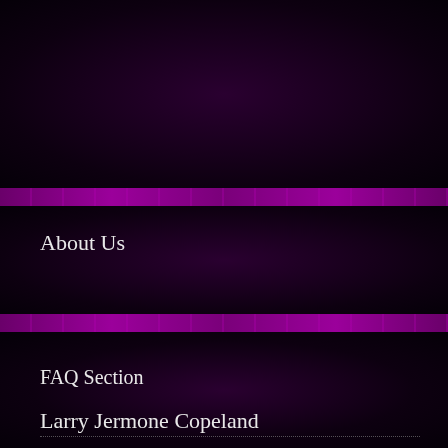[Figure (illustration): Dark purple decorative background panel at top of page with radial gradient, deep purple/black tones]
About Us
FAQ Section
Larry Jermone Copeland